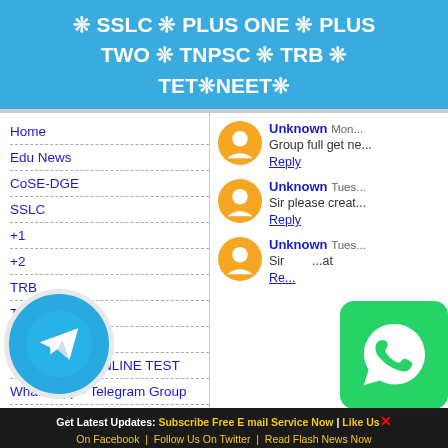❊ SSLC ❊ PLUS ONE ❊ PLUS TWO ❊ TNPSC ❊ TRB ❊ TET❊NEET❊
Home
Edu News
CoSE-DGE
SSLC
+1
+2
TRB
TNPSC
ONLINE TEST
DEPT EXAM ONLINE TEST
What's App - Telegram Group
Unknown Mon... Group full get n... Reply
Unknown Tues... Sir please creat... Reply
Unknown Tues... Sir ... at... Re...
[Figure (logo): Telegram app icon — blue circle with white paper airplane]
[Figure (logo): WhatsApp icon — green rounded square with white phone handset]
Get Latest Updates: Subscribe Free E mail Service Now | Like Us On Facebook | Follow Us On Twitter | Read Flash News Now